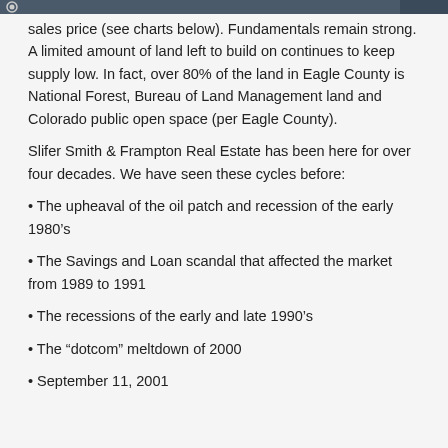sales price (see charts below). Fundamentals remain strong. A limited amount of land left to build on continues to keep supply low. In fact, over 80% of the land in Eagle County is National Forest, Bureau of Land Management land and Colorado public open space (per Eagle County).
Slifer Smith & Frampton Real Estate has been here for over four decades. We have seen these cycles before:
• The upheaval of the oil patch and recession of the early 1980's
• The Savings and Loan scandal that affected the market from 1989 to 1991
• The recessions of the early and late 1990's
• The “dotcom” meltdown of 2000
• September 11, 2001